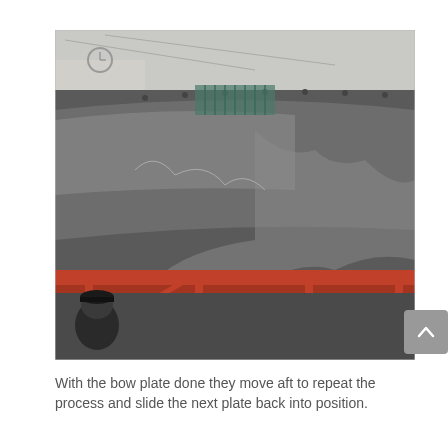[Figure (photo): Photograph of a large metal hull or vessel lying on red steel scaffolding/rack outdoors in an industrial yard. The hull has a shiny metallic surface with visible rivets and wrinkles. A worker wearing a dark cap is visible in the lower left corner. Background shows industrial buildings and utility lines.]
With the bow plate done they move aft to repeat the process and slide the next plate back into position.